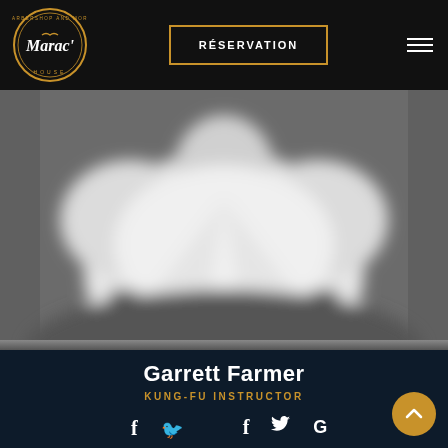[Figure (logo): Marac House barbershop and more circular logo in gold and white on black background]
RÉSERVATION
[Figure (photo): Blurred grayscale photo of a person wearing a white martial arts gi with a dark belt]
Garrett Farmer
KUNG-FU INSTRUCTOR
[Figure (infographic): Social media icons: Facebook f, Twitter bird, Google G in white]